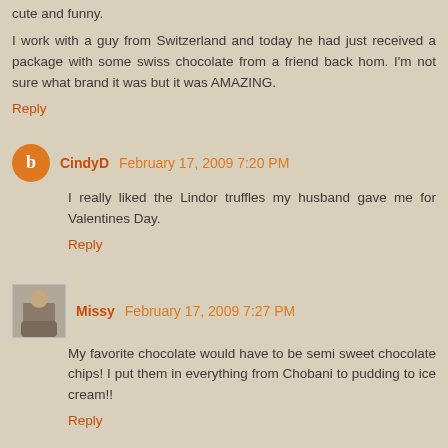cute and funny.
I work with a guy from Switzerland and today he had just received a package with some swiss chocolate from a friend back hom. I'm not sure what brand it was but it was AMAZING.
Reply
CindyD  February 17, 2009 7:20 PM
I really liked the Lindor truffles my husband gave me for Valentines Day.
Reply
Missy  February 17, 2009 7:27 PM
My favorite chocolate would have to be semi sweet chocolate chips! I put them in everything from Chobani to pudding to ice cream!!
Reply